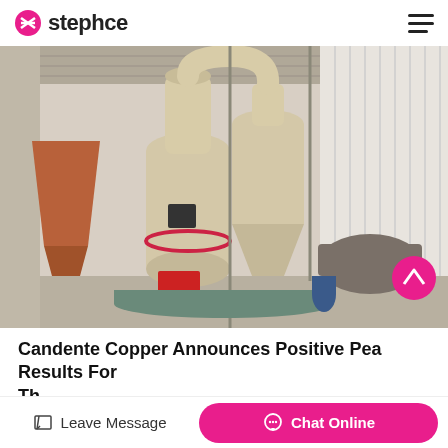stephce
[Figure (photo): Industrial milling/grinding equipment inside a factory/warehouse, showing large cream-colored vertical mill machines with cyclone separators, dust collection hoppers, and related processing equipment on a concrete floor.]
Candente Copper Announces Positive Pea Results For Th...
Leave Message
Chat Online